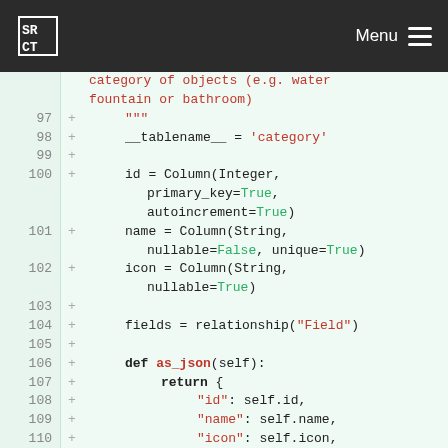SRCT Menu
[Figure (screenshot): Code diff showing Python SQLAlchemy model class with line numbers 97-110, added lines marked with +. Code defines a Category model with tablename, id, name, icon columns and as_json method.]